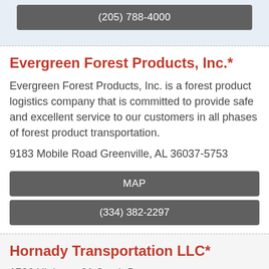(205) 788-4000
Evergreen Forest Products, Inc.*
Evergreen Forest Products, Inc. is a forest product logistics company that is committed to provide safe and excellent service to our customers in all phases of forest product transportation.
9183 Mobile Road Greenville, AL 36037-5753
MAP
(334) 382-2297
Hornady Transportation LLC*
1736 Highway 21 South Bypass Monroeville, AL 36461-0846